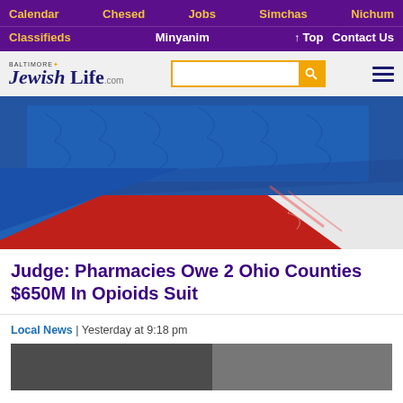Calendar | Chesed | Jobs | Simchas | Nichum
Classifieds | Minyanim | ↑ Top | Contact Us
[Figure (logo): Baltimore Jewish Life .com logo with search bar and hamburger menu]
[Figure (photo): Close-up photo of blue and red fabric or textile, possibly American flag material]
Judge: Pharmacies Owe 2 Ohio Counties $650M In Opioids Suit
Local News | Yesterday at 9:18 pm
[Figure (photo): Bottom article teaser image, partially visible]